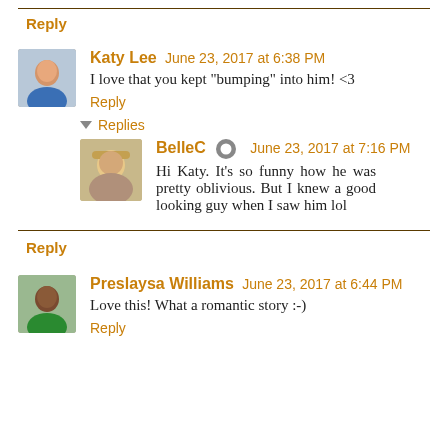Reply
Katy Lee  June 23, 2017 at 6:38 PM
I love that you kept "bumping" into him! <3
Reply
▾ Replies
BelleC  June 23, 2017 at 7:16 PM
Hi Katy. It's so funny how he was pretty oblivious. But I knew a good looking guy when I saw him lol
Reply
Preslaysa Williams  June 23, 2017 at 6:44 PM
Love this! What a romantic story :-)
Reply